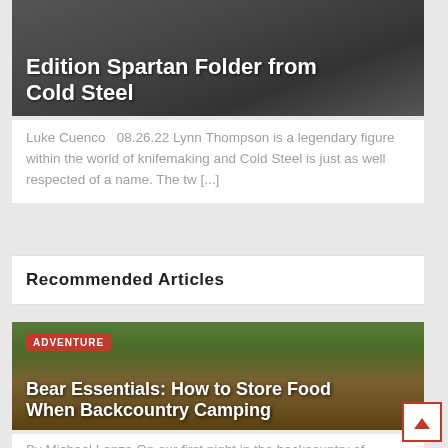[Figure (photo): Dark gray knife/product photo with overlaid white title text: 'Edition Spartan Folder from Cold Steel']
Luke Cuenco  08.26.22 Lynn Thompson is a legendary figure within the world of knifemaking and Cold Steel is just as well respected of a name. The tw [...]
Recommended Articles
[Figure (photo): Outdoor backcountry wilderness photo with trees and rocks, overlaid with red ADVENTURE badge and white title: 'Bear Essentials: How to Store Food When Backcountry Camping']
By Michael Lanza On our first night in the backcountry of